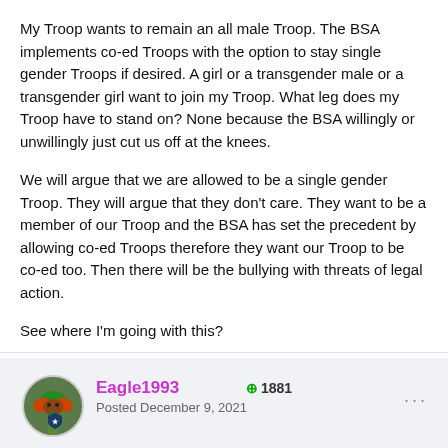My Troop wants to remain an all male Troop.  The BSA implements co-ed Troops with the option to stay single gender Troops if desired.  A girl or a transgender male or a transgender girl want to join my Troop.  What leg does my Troop have to stand on?  None because the BSA willingly or unwillingly just cut us off at the knees.
We will argue that we are allowed to be a single gender Troop.  They will argue that they don't care.  They want to be a member of our Troop and the BSA has set the precedent by allowing co-ed Troops therefore they want our Troop to be co-ed too.  Then there will be the bullying with threats of legal action.
See where I'm going with this?
Eagle1993  ⊕1881
Posted December 9, 2021